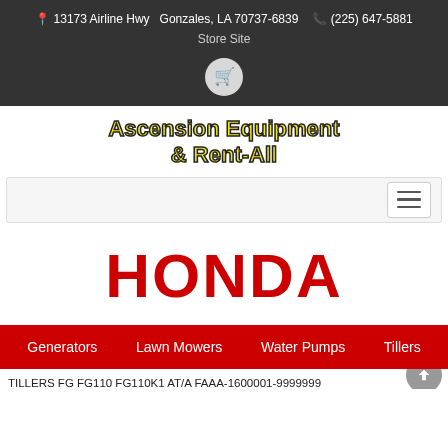13173 Airline Hwy   Gonzales, LA 70737-6839   (225) 647-5881
Store Site
[Figure (logo): Ascension Equipment & Rent-All logo in yellow bold text with dark outline]
[Figure (other): Navigation bar with hamburger menu button on the right]
[Figure (logo): Honda logo in large red bold text]
Generators   Lawn Mowers   Water Pumps   Tillers
TILLERS FG FG110 FG110K1 AT/A FAAA-1600001-9999999